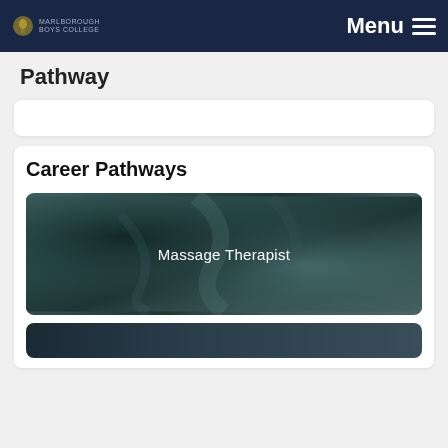MARLBOROUGH BOYS COLLEGE | Menu
Pathway
[Figure (other): Empty search/filter input box with rounded corners on a white card background]
Career Pathways
[Figure (photo): Dark teal-toned close-up photo showing a massage therapist's hands on a client, with overlaid text 'Massage Therapist' in white]
[Figure (photo): Partial view of a second career pathway card with a dark blue-grey background, partially cropped at the bottom of the page]